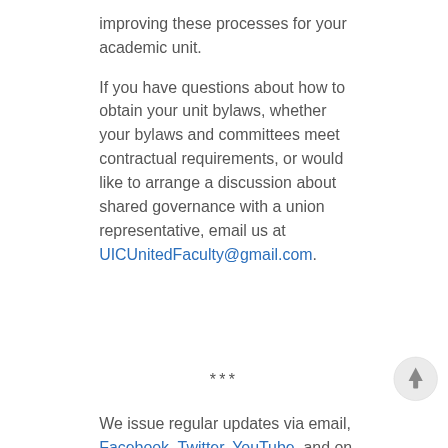improving these processes for your academic unit. If you have questions about how to obtain your unit bylaws, whether your bylaws and committees meet contractual requirements, or would like to arrange a discussion about shared governance with a union representative, email us at UICUnitedFaculty@gmail.com.
***
We issue regular updates via email, Facebook, Twitter, YouTube, and on our website. We encourage everyone to like and follow us on social media. If you want to contribute your story, pictures, video, or other content related to the activities of the union, email us at
[Figure (other): Scroll to top button: circular grey button with upward arrow]